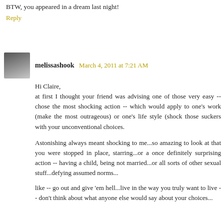BTW, you appeared in a dream last night!
Reply
melissashook  March 4, 2011 at 7:21 AM
Hi Claire,
at first I thought your friend was advising one of those very easy -- chose the most shocking action -- which would apply to one's work (make the most outrageous) or one's life style (shock those suckers with your unconventional choices.

Astonishing always meant shocking to me...so amazing to look at that you were stopped in place, starring...or a once definitely surprising action -- having a child, being not married...or all sorts of other sexual stuff...defying assumed norms...

like -- go out and give 'em hell...live in the way you truly want to live -- don't think about what anyone else would say about your choices...